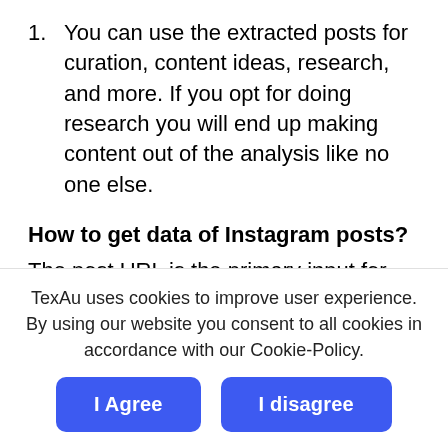1. You can use the extracted posts for curation, content ideas, research, and more. If you opt for doing research you will end up making content out of the analysis like no one else.
How to get data of Instagram posts?
The post URL is the primary input for this spice. This spice can help you scrape details like description, comments, tagged location, post
TexAu uses cookies to improve user experience. By using our website you consent to all cookies in accordance with our Cookie-Policy.